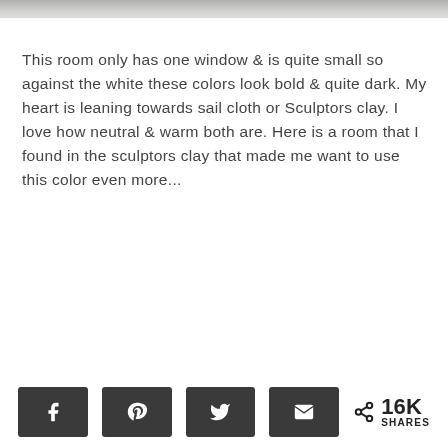[Figure (photo): Partial photo visible at the top of the page, showing what appears to be a room interior with light neutral tones.]
This room only has one window & is quite small so against the white these colors look bold & quite dark. My heart is leaning towards sail cloth or Sculptors clay. I love how neutral & warm both are. Here is a room that I found in the sculptors clay that made me want to use this color even more...
Social share buttons: Facebook, Pinterest, Twitter, Email. 16K SHARES